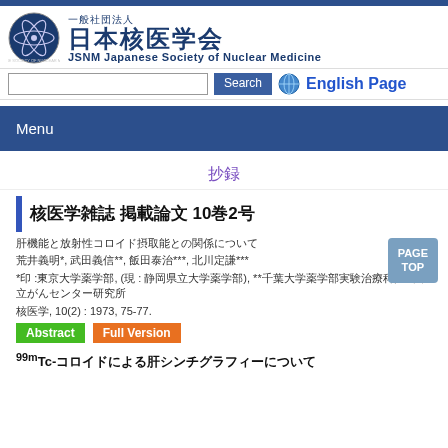[Figure (logo): JSNM Japanese Society of Nuclear Medicine logo with atomic symbol and Japanese organization name]
JSNM Japanese Society of Nuclear Medicine / 一般社団法人 日本核医学会
Menu
抄録
核医学雑誌 掲載論文 10巻2号
肝機能と放射性コロイド摂取能との関係について
荒井義明*, 武田義信**, 飯田泰治***, 北川定謙***
*印 :東京大学薬学部, (現 : 静岡県立大学薬学部), **千葉大学薬学部実験治療科, ***国立がんセンター研究所
核医学, 10(2) : 1973, 75-77.
99mTc-コロイドによる肝シンチグラフィーについて